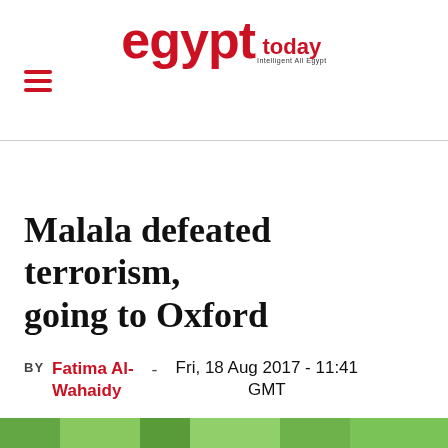egypt today
Malala defeated terrorism, going to Oxford
BY Fatima Al-Wahaidy - Fri, 18 Aug 2017 - 11:41 GMT
[Figure (photo): Green outdoor landscape photo strip at the bottom of the page]